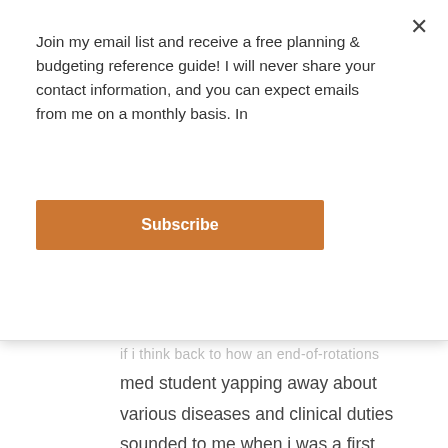Join my email list and receive a free planning & budgeting reference guide! I will never share your contact information, and you can expect emails from me on a monthly basis. In
Subscribe
if i think back to how an end-of-rotations med student yapping away about various diseases and clinical duties sounded to me when i was a first year [intimidating, brilliant, and equipped with a set of tools i could barely fathom], it is analogous to how the phD-veterans sound to me now.

just like with med school, i'll get there. eventually.